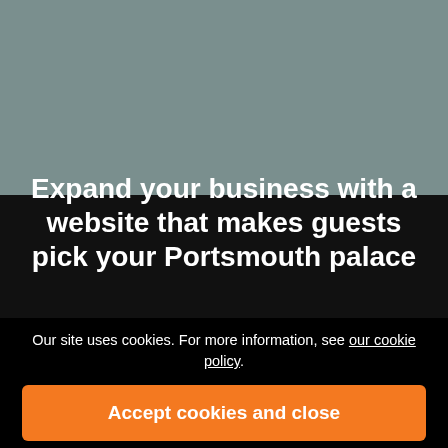[Figure (screenshot): Website screenshot with dark background showing a hotel/palace booking website for Portsmouth palace. The upper portion is grayish-teal and lower is very dark/black.]
Expand your business with a website that makes guests pick your Portsmouth palace
Our site uses cookies. For more information, see our cookie policy.
Accept cookies and close
Reject cookies
Manage settings